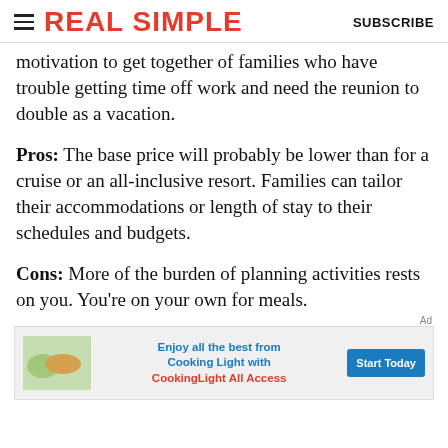REAL SIMPLE | SUBSCRIBE
motivation to get together of families who have trouble getting time off work and need the reunion to double as a vacation.
Pros: The base price will probably be lower than for a cruise or an all-inclusive resort. Families can tailor their accommodations or length of stay to their schedules and budgets.
Cons: More of the burden of planning activities rests on you. You’re on your own for meals.
[Figure (infographic): Advertisement banner: Enjoy all the best from Cooking Light with CookingLight All Access, with a Start Today button and food photo on left.]